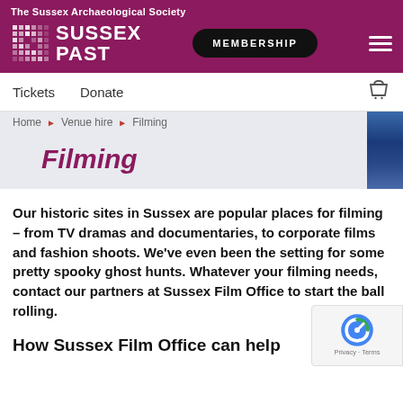The Sussex Archaeological Society
[Figure (logo): Sussex Past logo with grid icon and text SUSSEX PAST on purple background, plus MEMBERSHIP button and hamburger menu]
Tickets   Donate
Home › Venue hire › Filming
Filming
Our historic sites in Sussex are popular places for filming – from TV dramas and documentaries, to corporate films and fashion shoots. We've even been the setting for some pretty spooky ghost hunts. Whatever your filming needs, contact our partners at Sussex Film Office to start the ball rolling.
How Sussex Film Office can help